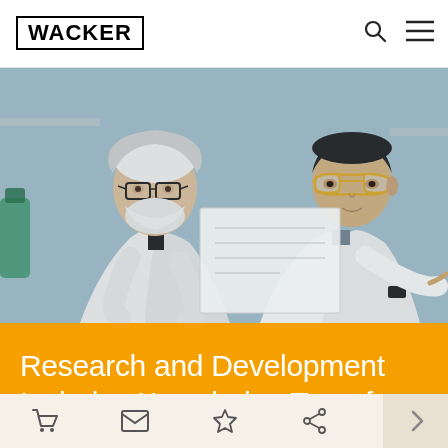WACKER
[Figure (photo): Two scientists in white lab coats examining a document or sample together in a laboratory setting. One is an older man with white beard and dark-rimmed glasses, the other is a younger Asian man wearing safety glasses. They appear to be reviewing something held up to the light.]
Research and Development Includes Knowledge Transfer
our customers are